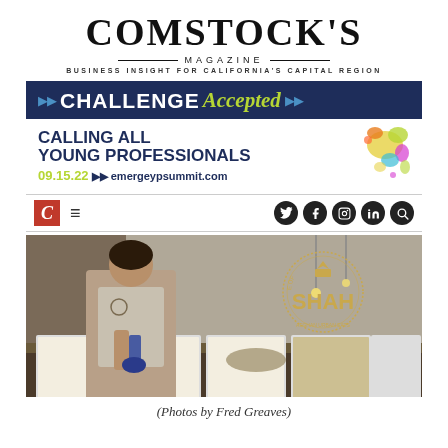COMSTOCK'S MAGAZINE — BUSINESS INSIGHT FOR CALIFORNIA'S CAPITAL REGION
[Figure (infographic): Comstock's Magazine Challenge Accepted banner ad for Calling All Young Professionals event on 09.15.22 at emergeypsummit.com]
[Figure (photo): Screenshot of Comstock's Magazine website navigation bar showing logo, hamburger menu, and social media icons (Twitter, Facebook, Instagram, LinkedIn, Search)]
[Figure (photo): Photo of a woman wearing gloves preparing food at a table with multiple trays, with House of Shah Afghan Urban Eats logo visible in the background]
(Photos by Fred Greaves)